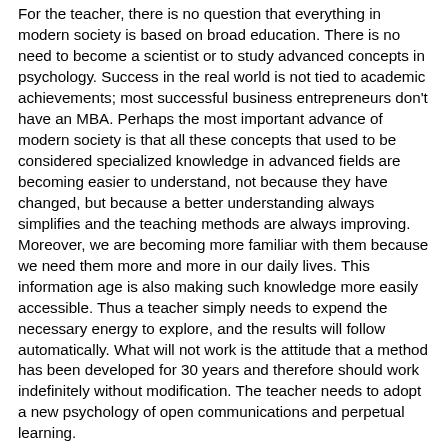For the teacher, there is no question that everything in modern society is based on broad education. There is no need to become a scientist or to study advanced concepts in psychology. Success in the real world is not tied to academic achievements; most successful business entrepreneurs don't have an MBA. Perhaps the most important advance of modern society is that all these concepts that used to be considered specialized knowledge in advanced fields are becoming easier to understand, not because they have changed, but because a better understanding always simplifies and the teaching methods are always improving. Moreover, we are becoming more familiar with them because we need them more and more in our daily lives. This information age is also making such knowledge more easily accessible. Thus a teacher simply needs to expend the necessary energy to explore, and the results will follow automatically. What will not work is the attitude that a method has been developed for 30 years and therefore should work indefinitely without modification. The teacher needs to adopt a new psychology of open communications and perpetual learning.
Many of us need a psychological device to overcome the